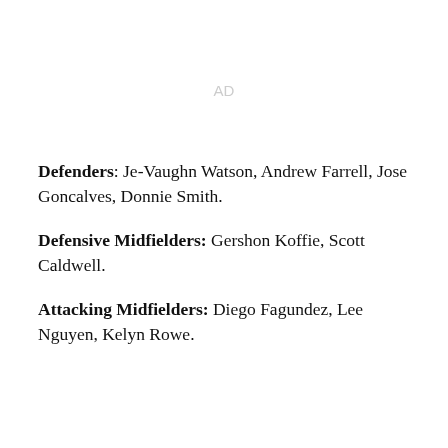AD
Defenders: Je-Vaughn Watson, Andrew Farrell, Jose Goncalves, Donnie Smith.
Defensive Midfielders: Gershon Koffie, Scott Caldwell.
Attacking Midfielders: Diego Fagundez, Lee Nguyen, Kelyn Rowe.